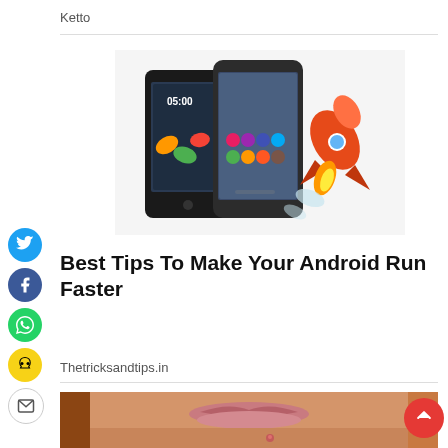Ketto
[Figure (photo): Two Android smartphones with a cartoon rocket launching beside them, illustrating Android speed tips.]
Best Tips To Make Your Android Run Faster
Thetricksandtips.in
[Figure (photo): Close-up photo of a woman's lower face showing lips and chin with a small pimple.]